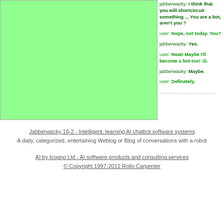[Figure (screenshot): Green panel on the left side of a chatbot conversation interface]
jabberwacky: I think that you will shortcircuit something ... You are a bot, aren't you ?
user: Nope, not today. You?
jabberwacky: Yes.
user: Neat! Maybe I'll become a bot too! :D.
jabberwacky: Maybe.
user: Definately.
...............................................
Jabberwacky 16-2 - Intelligent, learning AI chatbot software systems
A daily, categorized, entertaining Weblog or Blog of conversations with a robot
AI by Icogno Ltd - AI software products and consulting services
© Copyright 1997-2011 Rollo Carpenter